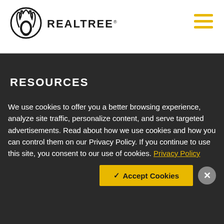REALTREE
RESOURCES
We use cookies to offer you a better browsing experience, analyze site traffic, personalize content, and serve targeted advertisements. Read about how we use cookies and how you can control them on our Privacy Policy. If you continue to use this site, you consent to our use of cookies. Privacy Policy
✓ Accept Cookies